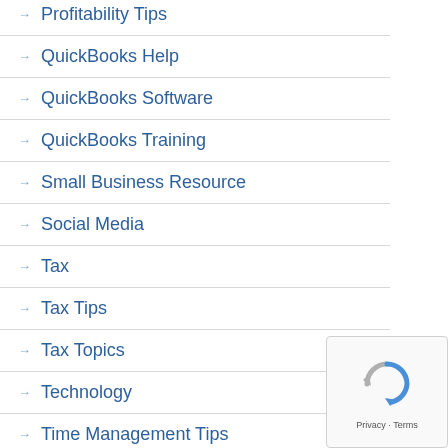Profitability Tips
QuickBooks Help
QuickBooks Software
QuickBooks Training
Small Business Resource
Social Media
Tax
Tax Tips
Tax Topics
Technology
Time Management Tips
[Figure (other): reCAPTCHA privacy badge with rotating arrows icon and Privacy · Terms text]